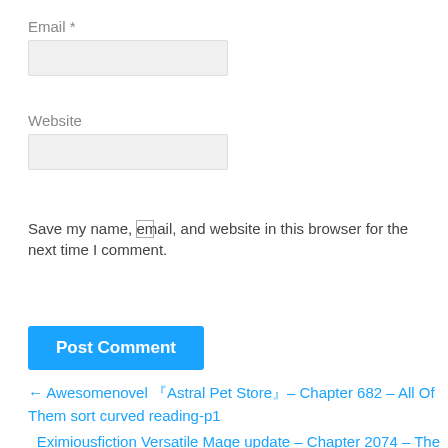Email *
Website
Save my name, email, and website in this browser for the next time I comment.
Post Comment
← Awesomenovel 『Astral Pet Store』– Chapter 682 – All Of Them sort curved reading-p1
Eximiousfiction Versatile Mage update – Chapter 2074 – The Consequences of Offending the Emperor old tricky -p2 →